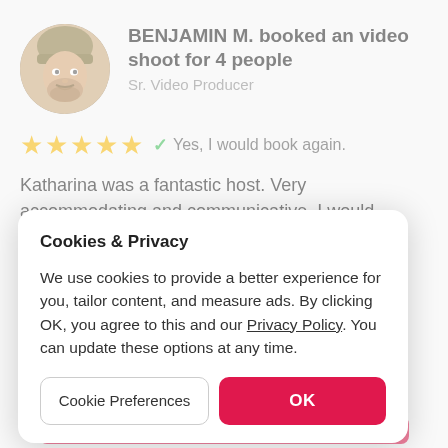[Figure (photo): Circular avatar photo of a man wearing a yellow/olive beanie hat, with beard, in a warm-toned setting]
BENJAMIN M. booked an video shoot for 4 people
Sr. Video Producer
★★★★★  ✓ Yes, I would book again.
Katharina was a fantastic host. Very accommodating and communicative. I would absolutely recommend this l…
Cookies & Privacy
We use cookies to provide a better experience for you, tailor content, and measure ads. By clicking OK, you agree to this and our Privacy Policy. You can update these options at any time.
Cookie Preferences
OK